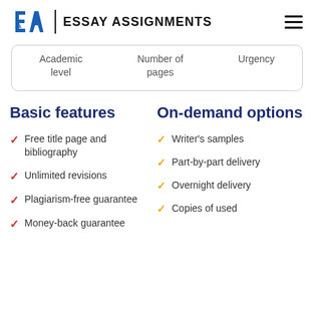EA | ESSAY ASSIGNMENTS
| Academic level | Number of pages | Urgency |
| --- | --- | --- |
Basic features
On-demand options
Free title page and bibliography
Unlimited revisions
Plagiarism-free guarantee
Money-back guarantee
Writer's samples
Part-by-part delivery
Overnight delivery
Copies of used